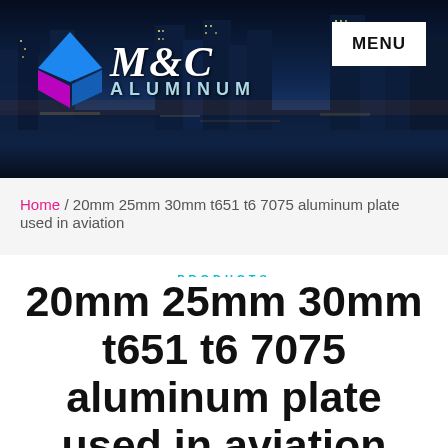[Figure (illustration): M&C Aluminum company banner with city skyline at night in the background, company logo (diamond shape in blue and purple/pink) on the left, M&C ALUMINUM brand text in white italic, and a white MENU button on the top right]
Home / 20mm 25mm 30mm t651 t6 7075 aluminum plate used in aviation
PRODUCTS
20mm 25mm 30mm t651 t6 7075 aluminum plate used in aviation